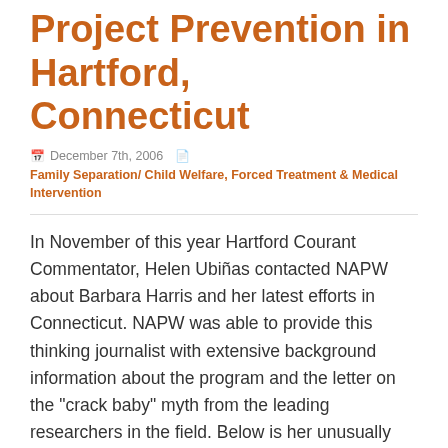Project Prevention in Hartford, Connecticut
December 7th, 2006   Family Separation/ Child Welfare, Forced Treatment & Medical Intervention
In November of this year Hartford Courant Commentator, Helen Ubiñas contacted NAPW about Barbara Harris and her latest efforts in Connecticut. NAPW was able to provide this thinking journalist with extensive background information about the program and the letter on the "crack baby" myth from the leading researchers in the field. Below is her unusually good commentary and two letters to the editor. One is by NAPW Executive Director Lynn Paltrow and the